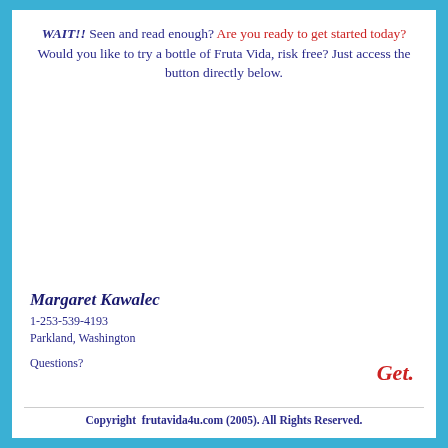WAIT!! Seen and read enough? Are you ready to get started today? Would you like to try a bottle of Fruta Vida, risk free? Just access the button directly below.
Margaret Kawalec
1-253-539-4193
Parkland, Washington
Questions?
Get.
Copyright  frutavida4u.com (2005). All Rights Reserved.